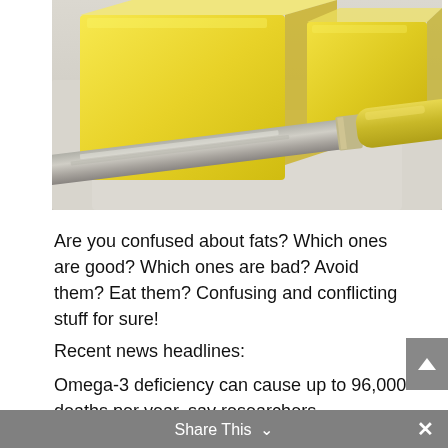[Figure (photo): Two blocks of yellow butter and a butter knife with a yellow handle on a white surface]
Are you confused about fats? Which ones are good? Which ones are bad? Avoid them? Eat them? Confusing and conflicting stuff for sure!
Recent news headlines:
Omega-3 deficiency can cause up to 96,000 deaths per year, say researchers.
Omega-3 deficiency is the sixth biggest killer
Share This ∨  ×